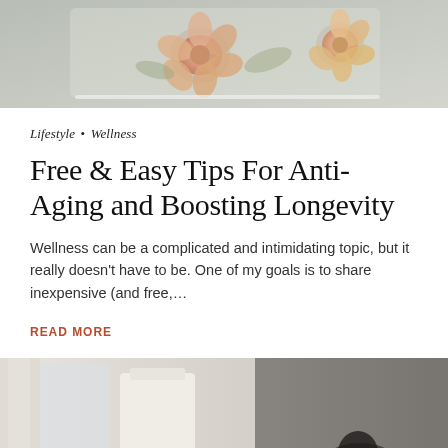[Figure (photo): Top portion of a decorative floral image, showing pale pink and peach flowers against a light gray/green background, partially cropped at top.]
Lifestyle • Wellness
Free & Easy Tips For Anti-Aging and Boosting Longevity
Wellness can be a complicated and intimidating topic, but it really doesn't have to be. One of my goals is to share inexpensive (and free,…
READ MORE
[Figure (photo): Bottom portion of a lifestyle image showing a bright room interior on the left half and a darker gray textured wall/background on the right half, partially cropped at bottom.]